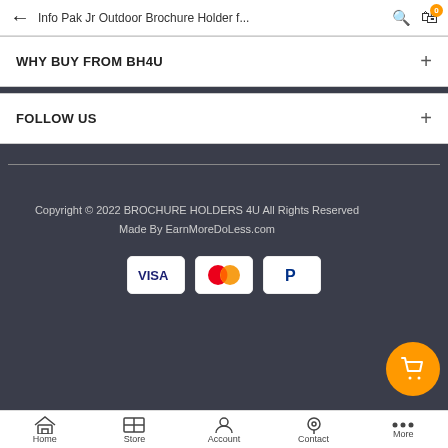Info Pak Jr Outdoor Brochure Holder f...
WHY BUY FROM BH4U
FOLLOW US
Copyright © 2022 BROCHURE HOLDERS 4U All Rights Reserved
Made By EarnMoreDoLess.com
[Figure (infographic): Payment method icons: VISA, Mastercard, PayPal]
Home  Store  Account  Contact  More